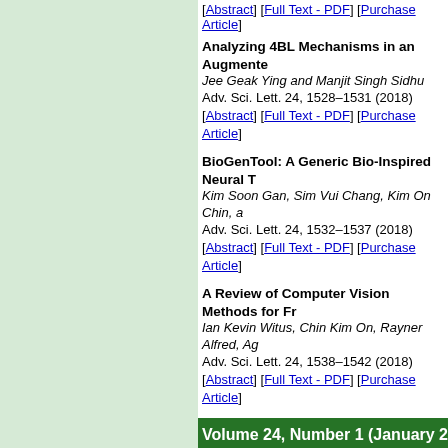[Abstract] [Full Text - PDF] [Purchase Article]
Analyzing 4BL Mechanisms in an Augmented...
Jee Geak Ying and Manjit Singh Sidhu
Adv. Sci. Lett. 24, 1528–1531 (2018)
[Abstract] [Full Text - PDF] [Purchase Article]
BioGenTool: A Generic Bio-Inspired Neural T...
Kim Soon Gan, Sim Vui Chang, Kim On Chin, a...
Adv. Sci. Lett. 24, 1532–1537 (2018)
[Abstract] [Full Text - PDF] [Purchase Article]
A Review of Computer Vision Methods for Fr...
Ian Kevin Witus, Chin Kim On, Rayner Alfred, Ag...
Adv. Sci. Lett. 24, 1538–1542 (2018)
[Abstract] [Full Text - PDF] [Purchase Article]
Volume 24, Number 1 (January 20...
A SPECIAL SECTION
Selected Peer-Reviewed Articles from the 2n... Johor, Malaysia, 10–11 October, 2017 and Int... (ICSSE 2017) Bandung, Indonesia, 21–23 Nov...
Guest Editors: Aqeel Khan, Mahani Mokhtar, and...
Adv. Sci. Lett. 24, 1–2 (2018)
[Abstract] [Full Text - PDF] [Purchase Article]
RESEARCH ARTICLES
Sources of Anticipatory Socialisation: Views...
Lokman Mohd Tahir, Mohammed Berhanddin...